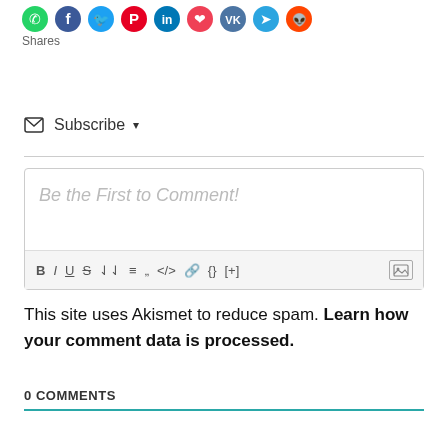[Figure (other): Social share icons row: WhatsApp (green), Facebook (blue), Twitter (light blue), Pinterest (red), LinkedIn (blue), Pocket (red), VK (blue), Telegram (blue), Reddit (orange-red), with 'Shares' label below]
✉ Subscribe ▼
[Figure (screenshot): Comment text editor box with placeholder text 'Be the First to Comment!' and formatting toolbar with B, I, U, S, ordered list, unordered list, blockquote, code, link, {}, [+] buttons, and image icon]
This site uses Akismet to reduce spam. Learn how your comment data is processed.
0 COMMENTS